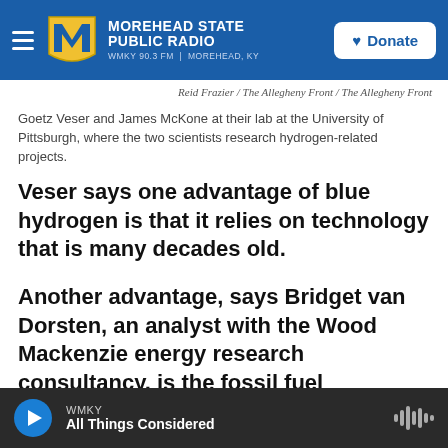MOREHEAD STATE PUBLIC RADIO — WMKY 90.3 FM | MOREHEAD, KY — Donate
Reid Frazier / The Allegheny Front / The Allegheny Front
Goetz Veser and James McKone at their lab at the University of Pittsburgh, where the two scientists research hydrogen-related projects.
Veser says one advantage of blue hydrogen is that it relies on technology that is many decades old.
Another advantage, says Bridget van Dorsten, an analyst with the Wood Mackenzie energy research consultancy, is the fossil fuel industry's political power in the United States. She says that makes blue hydrogen more likely than a full push for green hydrogen.
WMKY — All Things Considered